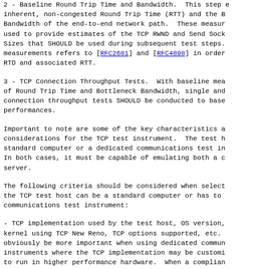2 - Baseline Round Trip Time and Bandwidth. This step establishes the inherent, non-congested Round Trip Time (RTT) and the Bottleneck Bandwidth of the end-to-end network path. These measurements are used to provide estimates of the TCP RWND and Send Socket Buffer Sizes that SHOULD be used during subsequent test steps. This measurements refers to [RFC2681] and [RFC4898] in order to compute RTD and associated RTT.
3 - TCP Connection Throughput Tests. With baseline measurements of Round Trip Time and Bottleneck Bandwidth, single and multiple connection throughput tests SHOULD be conducted to baseline performances.
Important to note are some of the key characteristics and considerations for the TCP test instrument. The test host can be a standard computer or a dedicated communications test instrument. In both cases, it must be capable of emulating both a client and server.
The following criteria should be considered when selecting whether the TCP test host can be a standard computer or has to be a dedicated communications test instrument:
- TCP implementation used by the test host, OS version, e.g. Linux kernel using TCP New Reno, TCP options supported, etc. This will obviously be more important when using dedicated communications instruments where the TCP implementation may be customized to run in higher performance hardware. When a compliant TTD is used, the TCP implementation MUST be identified in the test report. The compliant TCP TTD should be usable for complete end-to-end testing through network security elements and should ...